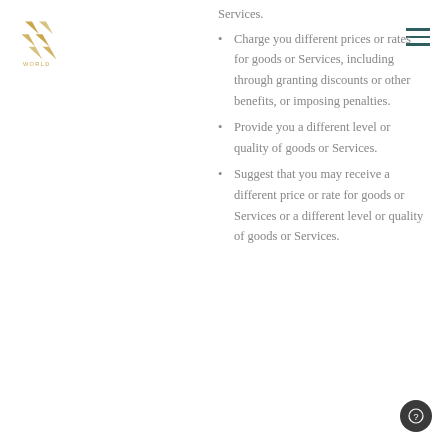X World logo and navigation
Services.
Charge you different prices or rates for goods or Services, including through granting discounts or other benefits, or imposing penalties.
Provide you a different level or quality of goods or Services.
Suggest that you may receive a different price or rate for goods or Services or a different level or quality of goods or Services.